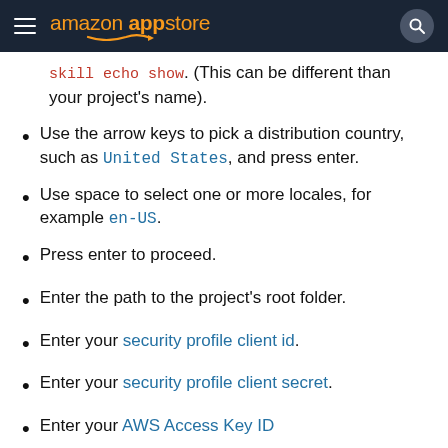amazon appstore
skill echo show. (This can be different than your project's name).
Use the arrow keys to pick a distribution country, such as United States, and press enter.
Use space to select one or more locales, for example en-US.
Press enter to proceed.
Enter the path to the project's root folder.
Enter your security profile client id.
Enter your security profile client secret.
Enter your AWS Access Key ID